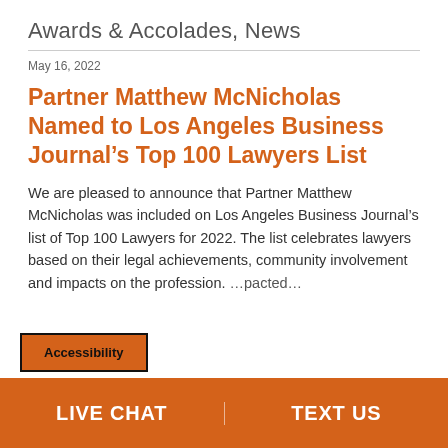Awards & Accolades, News
May 16, 2022
Partner Matthew McNicholas Named to Los Angeles Business Journal’s Top 100 Lawyers List
We are pleased to announce that Partner Matthew McNicholas was included on Los Angeles Business Journal’s list of Top 100 Lawyers for 2022. The list celebrates lawyers based on their legal achievements, community involvement and impacts on the profession. ...pacted...
Accessibility
LIVE CHAT | TEXT US